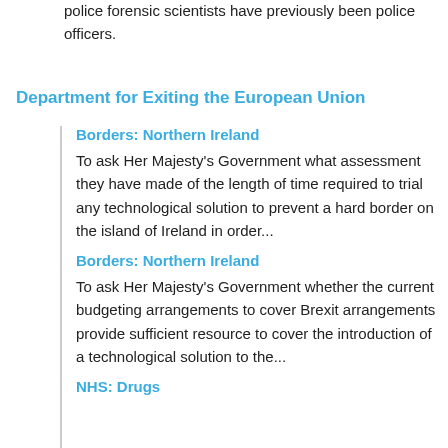police forensic scientists have previously been police officers.
Department for Exiting the European Union
Borders: Northern Ireland
To ask Her Majesty's Government what assessment they have made of the length of time required to trial any technological solution to prevent a hard border on the island of Ireland in order...
Borders: Northern Ireland
To ask Her Majesty's Government whether the current budgeting arrangements to cover Brexit arrangements provide sufficient resource to cover the introduction of a technological solution to the...
NHS: Drugs